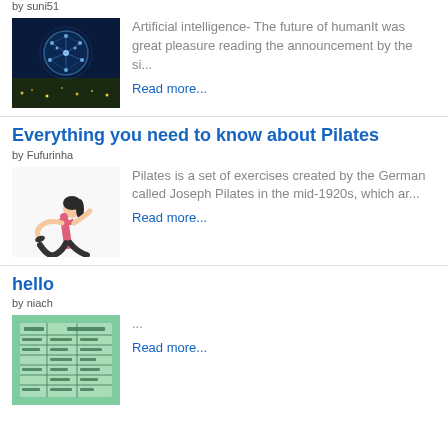by suni51
[Figure (photo): AI brain with city lights in background]
Artificial intelligence- The future of humanIt was great pleasure reading the announcement by the si...
Read more...
Everything you need to know about Pilates
by Fufurinha
[Figure (photo): Woman doing a pilates stretching pose]
Pilates is a set of exercises created by the German called Joseph Pilates in the mid-1920s, which ar...
Read more...
hello
by niach
[Figure (photo): Green document with Arabic text]
...
Read more...